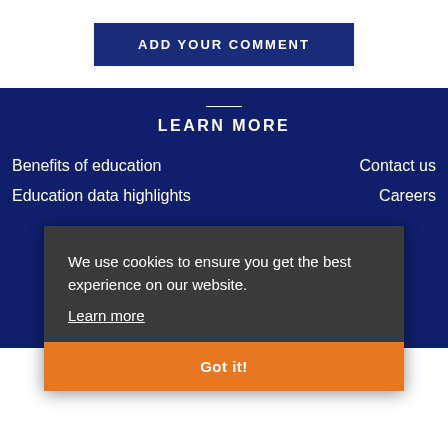ADD YOUR COMMENT
LEARN MORE
Benefits of education
Education data highlights
Contact us
Careers
We use cookies to ensure you get the best experience on our website. Learn more
Got it!